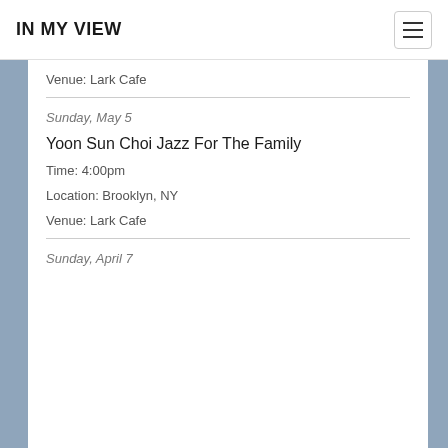IN MY VIEW
Venue: Lark Cafe
Sunday, May 5
Yoon Sun Choi Jazz For The Family
Time: 4:00pm
Location: Brooklyn, NY
Venue: Lark Cafe
Sunday, April 7